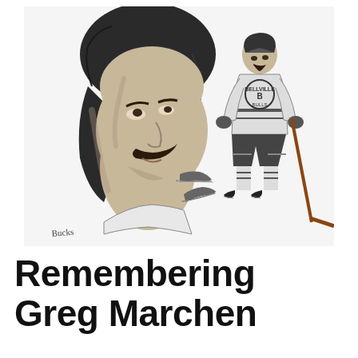[Figure (illustration): Pencil sketch illustration showing a large close-up portrait of a man with dark feathered hair and a mustache on the left, and a full-body drawing of a hockey player in a Belleville Bulls jersey (number 8) skating with a stick on the right. Small hockey skates are drawn in the lower center. An artist signature appears in the lower left of the illustration.]
Remembering Greg Marchen